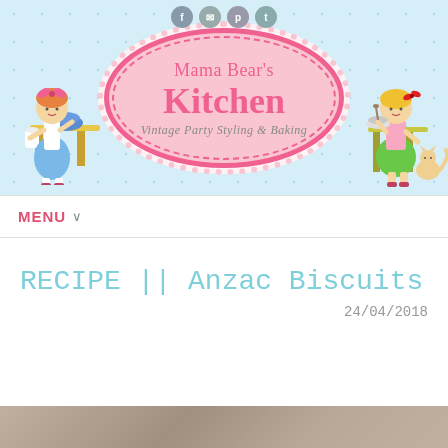[Figure (illustration): Mama Bear's Kitchen blog header banner with light blue polka dot background, vintage girl illustrations on left and right, pink oval badge in center reading 'Mama Bear's Kitchen' with subtitle 'Vintage Party Styling & Baking', social media icons at top]
MENU ∨
RECIPE || Anzac Biscuits
24/04/2018
[Figure (photo): Partial photo of Anzac biscuits at the bottom of the page]